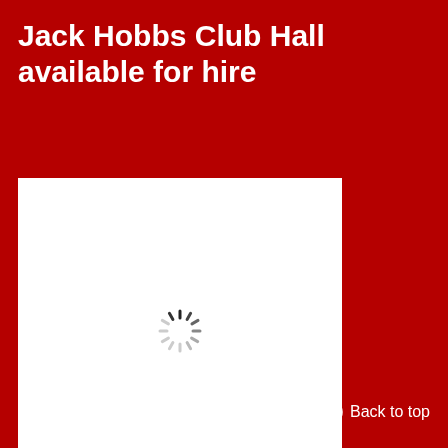Jack Hobbs Club Hall available for hire
[Figure (other): White rectangle placeholder with a loading spinner icon in the center]
Local News
Back to top